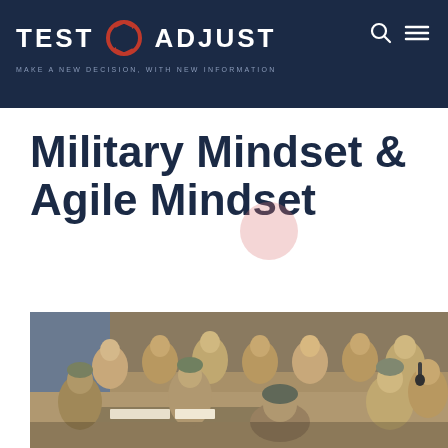TEST ADJUST — MAKE A NEW DECISION, WITH NEW INFORMATION
Military Mindset & Agile Mindset
[Figure (photo): Group of military soldiers in desert camouflage uniforms gathered around a table reviewing documents/maps outdoors]